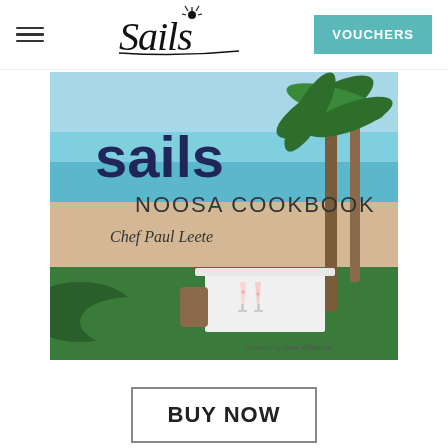[Figure (logo): Sails restaurant logo with stylized italic text and sun symbol]
VOUCHERS
[Figure (photo): Cover of the Sails Noosa Cookbook by Chef Paul Leete, showing beach scene with palm trees, dining table with champagne glasses, turquoise water and sandy beach. Text reads: sails NOOSA COOKBOOK Chef Paul Leete, Foreword by David Williamson]
BUY NOW